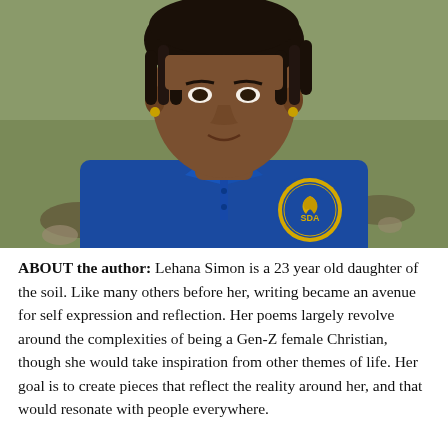[Figure (photo): Portrait photo of Lehana Simon, a young woman wearing a blue polo shirt with an SDA (Seventh-day Adventist) logo badge. She has short dreadlocks and is photographed outdoors against a grassy background.]
ABOUT the author: Lehana Simon is a 23 year old daughter of the soil. Like many others before her, writing became an avenue for self expression and reflection. Her poems largely revolve around the complexities of being a Gen-Z female Christian, though she would take inspiration from other themes of life. Her goal is to create pieces that reflect the reality around her, and that would resonate with people everywhere.